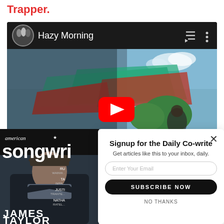Trapper.
[Figure (screenshot): YouTube video embed showing 'Hazy Morning' with a group photo avatar, a thumbnail of colorful tents outdoors, and a YouTube play button overlay.]
[Figure (photo): American Songwriter magazine cover featuring James Taylor.]
[Figure (screenshot): Modal popup with 'Signup for the Daily Co-write', email input, Subscribe Now button, and No Thanks link.]